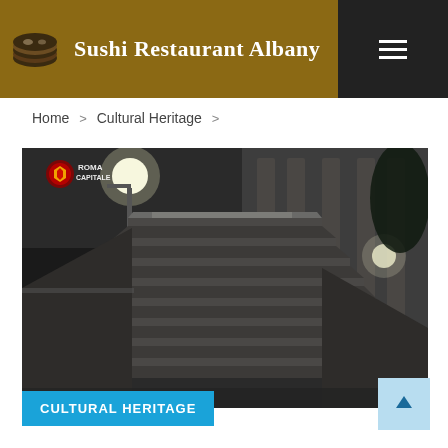Sushi Restaurant Albany
Home > Cultural Heritage >
[Figure (photo): Black and white night photograph of wide stone stairs at Roma Capitale, with street lamps illuminating the steps and a building facade visible in the background. A Roma Capitale logo/badge is visible in the upper left corner of the image.]
CULTURAL HERITAGE